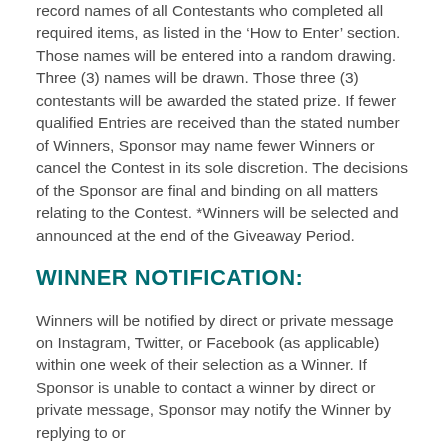record names of all Contestants who completed all required items, as listed in the 'How to Enter' section. Those names will be entered into a random drawing. Three (3) names will be drawn. Those three (3) contestants will be awarded the stated prize. If fewer qualified Entries are received than the stated number of Winners, Sponsor may name fewer Winners or cancel the Contest in its sole discretion. The decisions of the Sponsor are final and binding on all matters relating to the Contest. *Winners will be selected and announced at the end of the Giveaway Period.
WINNER NOTIFICATION:
Winners will be notified by direct or private message on Instagram, Twitter, or Facebook (as applicable) within one week of their selection as a Winner. If Sponsor is unable to contact a winner by direct or private message, Sponsor may notify the Winner by replying to or